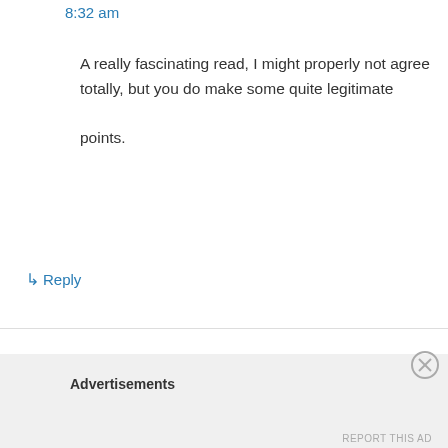8:32 am
A really fascinating read, I might properly not agree totally, but you do make some quite legitimate points.
↳ Reply
Pingback: My Blog is Three-Years-Old | White City Cinema
Pingback: Top Ten Films of 2013 | White City Cinema
Advertisements